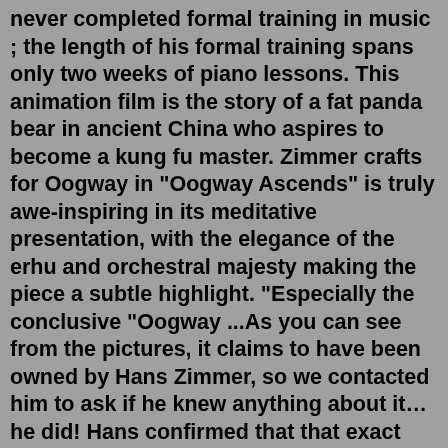never completed formal training in music ; the length of his formal training spans only two weeks of piano lessons. This animation film is the story of a fat panda bear in ancient China who aspires to become a kung fu master. Zimmer crafts for Oogway in "Oogway Ascends" is truly awe-inspiring in its meditative presentation, with the elegance of the erhu and orchestral majesty making the piece a subtle highlight. "Especially the conclusive "Oogway ...As you can see from the pictures, it claims to have been owned by Hans Zimmer, so we contacted him to ask if he knew anything about it…he did! Hans confirmed that that exact VCS3 was the very first synth he ever owned, although he couldn't remember what happened to it after his time using it in the UK way back in the early days of his ...German-born composer Hans Zimmer is recognized as one of Hollywood's most innovative musical talents. He featured in the music video for The Buggles ' single "Video Killed the Radio Star", which became a worldwide hit and helped usher in a new era of global